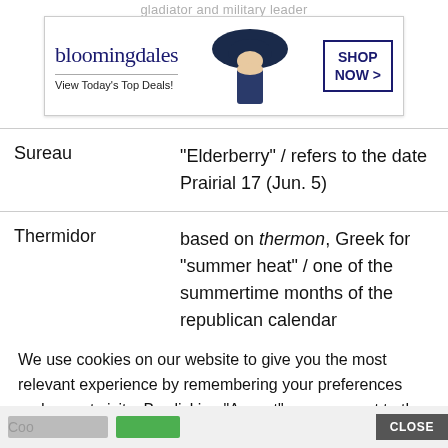gladiator and military leader
[Figure (screenshot): Bloomingdale's advertisement banner: logo, 'View Today's Top Deals!', model with hat, SHOP NOW > button]
| Sureau | “Elderberry” / refers to the date Prairial 17 (Jun. 5) |
| Thermidor | based on thermon, Greek for “summer heat” / one of the summertime months of the republican calendar |
We use cookies on our website to give you the most relevant experience by remembering your preferences and repeat visits. By clicking “Accept”, you consent to the use of ALL the cookies.
Do not sell my personal information.
[Figure (screenshot): Bloomingdale's advertisement banner bottom: logo, 'View Today's Top Deals!', model with hat, SHOP NOW > button, CLOSE button]